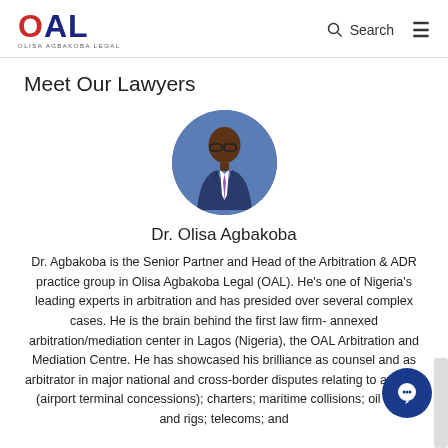OAL OLISA AGBAKOBA LEGAL — Search (navigation header)
Meet Our Lawyers
[Figure (photo): Circular portrait photo of Dr. Olisa Agbakoba, a man in a blue suit with glasses, against a blue background.]
Dr. Olisa Agbakoba
Dr. Agbakoba is the Senior Partner and Head of the Arbitration & ADR practice group in Olisa Agbakoba Legal (OAL). He's one of Nigeria's leading experts in arbitration and has presided over several complex cases. He is the brain behind the first law firm-annexed arbitration/mediation center in Lagos (Nigeria), the OAL Arbitration and Mediation Centre. He has showcased his brilliance as counsel and as arbitrator in major national and cross-border disputes relating to aviation (airport terminal concessions); charters; maritime collisions; oil wells and rigs; telecoms; and